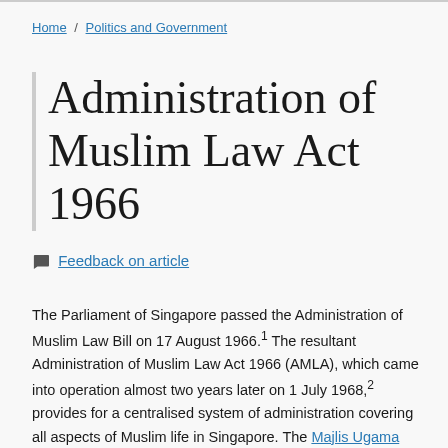Home / Politics and Government
Administration of Muslim Law Act 1966
💬 Feedback on article
The Parliament of Singapore passed the Administration of Muslim Law Bill on 17 August 1966.1 The resultant Administration of Muslim Law Act 1966 (AMLA), which came into operation almost two years later on 1 July 1968,2 provides for a centralised system of administration covering all aspects of Muslim life in Singapore. The Majlis Ugama Islam Singapura (MUIS, or Islamic Religious Council of Singapore) was constituted under AMLA, and serves as a statutory body that oversees Muslim affairs in Singapore.3 Besides MUIS,